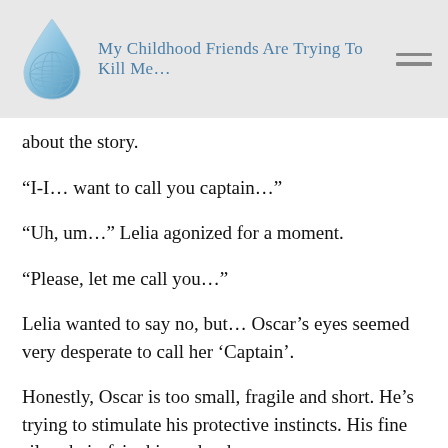My Childhood Friends Are Trying To Kill Me…
about the story.
“I-I… want to call you captain…”
“Uh, um…” Lelia agonized for a moment.
“Please, let me call you…”
Lelia wanted to say no, but… Oscar’s eyes seemed very desperate to call her ‘Captain’.
Honestly, Oscar is too small, fragile and short. He’s trying to stimulate his protective instincts. His fine silver hair, fair skin and red